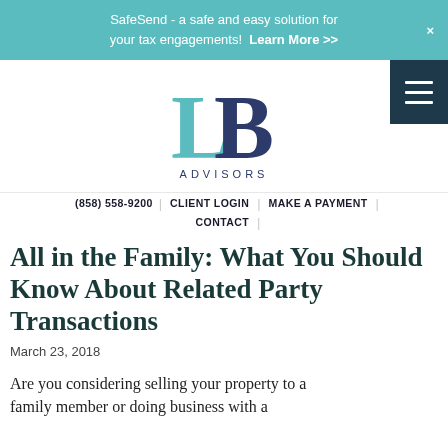SafeSend - a safe and easy solution for your tax engagements! Learn More >>
[Figure (logo): LB Advisors logo — teal L and dark blue B letters with 'ADVISORS' text beneath]
(858) 558-9200  |  CLIENT LOGIN  |  MAKE A PAYMENT  |  CONTACT  |
All in the Family: What You Should Know About Related Party Transactions
March 23, 2018
Are you considering selling your property to a family member or doing business with a...